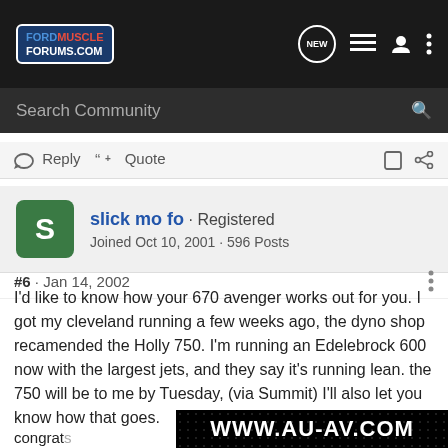FordMuscleForums.com - navigation bar with Search Community
Reply  Quote
slick mo fo · Registered
Joined Oct 10, 2001 · 596 Posts
#6 · Jan 14, 2002
I'd like to know how your 670 avenger works out for you. I got my cleveland running a few weeks ago, the dyno shop recamended the Holly 750. I'm running an Edelebrock 600 now with the largest jets, and they say it's running lean. the 750 will be to me by Tuesday, (via Summit) I'll also let you know how that goes.
[Figure (screenshot): www.au-av.com advertisement banner on dark starfield background]
congrats